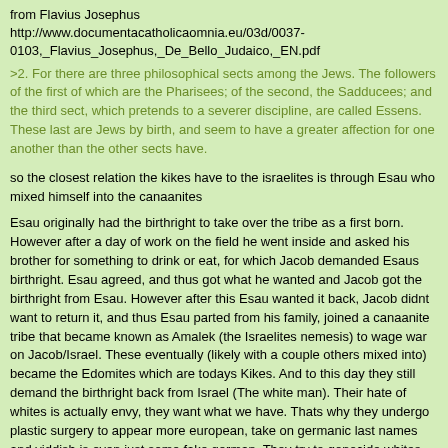from Flavius Josephus
http://www.documentacatholicaomnia.eu/03d/0037-0103,_Flavius_Josephus,_De_Bello_Judaico,_EN.pdf
>2. For there are three philosophical sects among the Jews. The followers of the first of which are the Pharisees; of the second, the Sadducees; and the third sect, which pretends to a severer discipline, are called Essens. These last are Jews by birth, and seem to have a greater affection for one another than the other sects have.
so the closest relation the kikes have to the israelites is through Esau who mixed himself into the canaanites
Esau originally had the birthright to take over the tribe as a first born. However after a day of work on the field he went inside and asked his brother for something to drink or eat, for which Jacob demanded Esaus birthright. Esau agreed, and thus got what he wanted and Jacob got the birthright from Esau. However after this Esau wanted it back, Jacob didnt want to return it, and thus Esau parted from his family, joined a canaanite tribe that became known as Amalek (the Israelites nemesis) to wage war on Jacob/Israel. These eventually (likely with a couple others mixed into) became the Edomites which are todays Kikes. And to this day they still demand the birthright back from Israel (The white man). Their hate of whites is actually envy, they want what we have. Thats why they undergo plastic surgery to appear more european, take on germanic last names and yiddish is even just some fake german. They try to gonocide whites so that they can take